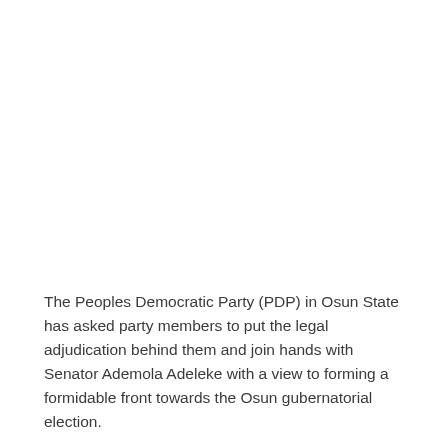The Peoples Democratic Party (PDP) in Osun State has asked party members to put the legal adjudication behind them and join hands with Senator Ademola Adeleke with a view to forming a formidable front towards the Osun gubernatorial election.